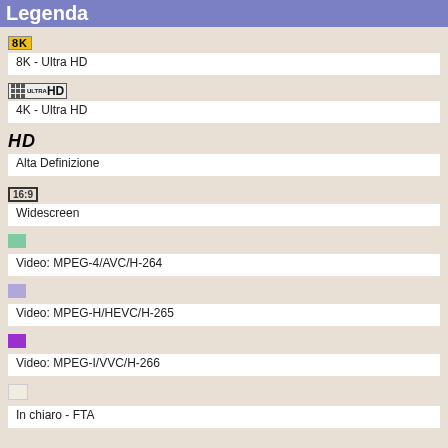Legenda
8K - Ultra HD
4K - Ultra HD
Alta Definizione
Widescreen
Video: MPEG-4/AVC/H-264
Video: MPEG-H/HEVC/H-265
Video: MPEG-I/VVC/H-266
In chiaro - FTA